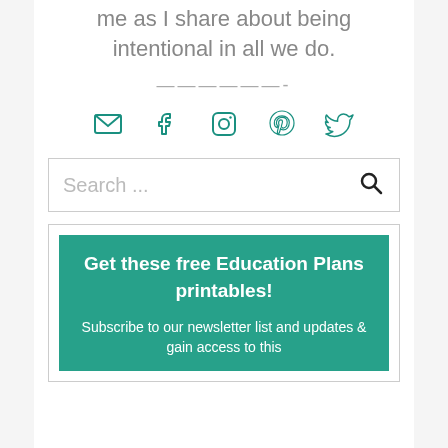me as I share about being intentional in all we do.
——————-
[Figure (infographic): Row of 5 social media icons in teal: email/envelope, Facebook, Instagram, Pinterest, Twitter]
Search ...
Get these free Education Plans printables! Subscribe to our newsletter list and updates & gain access to this